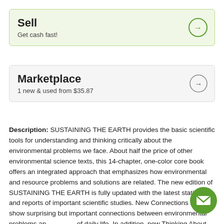Sell
Get cash fast!
Marketplace
1 new & used from $35.87
Description: SUSTAINING THE EARTH provides the basic scientific tools for understanding and thinking critically about the environmental problems we face. About half the price of other environmental science texts, this 14-chapter, one-color core book offers an integrated approach that emphasizes how environmental and resource problems and solutions are related. The new edition of SUSTAINING THE EARTH is fully updated with the latest statistics and reports of important scientific studies. New Connections boxes show surprising but important connections between environmental problems and aspects of daily life. In addition, new Thinking About boxes help students apply the concepts of the book to their own... More ∨
[Figure (other): Green circular email button icon in bottom right]